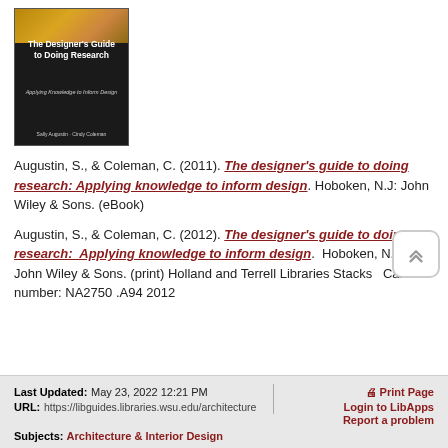[Figure (photo): Book cover of 'The Designer's Guide to Doing Research: Applying Knowledge to Inform Design' by Sally Augustin and Cindy Coleman. Black cover with golden/textured top stripe.]
Augustin, S., & Coleman, C. (2011). The designer's guide to doing research: Applying knowledge to inform design. Hoboken, N.J: John Wiley & Sons. (eBook)
Augustin, S., & Coleman, C. (2012). The designer's guide to doing research:  Applying knowledge to inform design.  Hoboken, N.J.: John Wiley & Sons. (print) Holland and Terrell Libraries Stacks  Call number: NA2750 .A94 2012
Last Updated: May 23, 2022 12:21 PM | URL: https://libguides.libraries.wsu.edu/architecture | Print Page | Login to LibApps | Report a problem | Subjects: Architecture & Interior Design